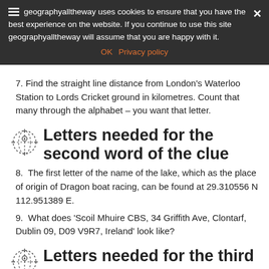geographyalltheway uses cookies to ensure that you have the best experience on the website. If you continue to use this site geographyalltheway will assume that you are happy with it. OK  Privacy policy
7. Find the straight line distance from London's Waterloo Station to Lords Cricket ground in kilometres. Count that many through the alphabet – you want that letter.
Letters needed for the second word of the clue
8. The first letter of the name of the lake, which as the place of origin of Dragon boat racing, can be found at 29.310556 N 112.951389 E.
9. What does 'Scoil Mhuire CBS, 34 Griffith Ave, Clontarf, Dublin 09, D09 V9R7, Ireland' look like?
Letters needed for the third